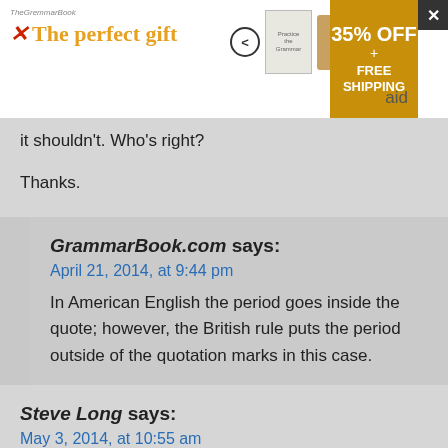[Figure (screenshot): Advertisement banner for 'The perfect gift' featuring a book and food items with navigation arrows and a gold '35% OFF + FREE SHIPPING' badge. An X close button is at top right.]
it shouldn't. Who's right?
Thanks.
GrammarBook.com says:
April 21, 2014, at 9:44 pm
In American English the period goes inside the quote; however, the British rule puts the period outside of the quotation marks in this case.
Steve Long says:
May 3, 2014, at 10:55 am
I'm writing a paper in which I want to quote a single verse from the Bible, but that verse has a quote within a